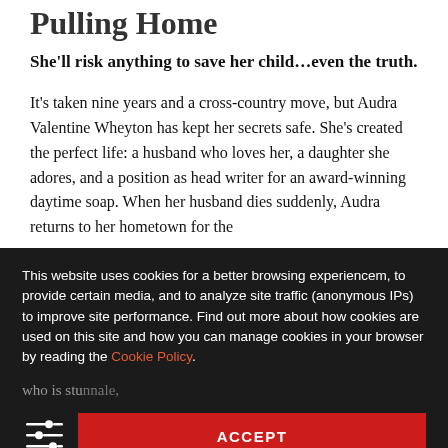Pulling Home
She'll risk anything to save her child…even the truth.
It's taken nine years and a cross-country move, but Audra Valentine Wheyton has kept her secrets safe. She's created the perfect life: a husband who loves her, a daughter she adores, and a position as head writer for an award-winning daytime soap. When her husband dies suddenly, Audra returns to her hometown for the
This website uses cookies for a better browsing experiencem, to provide certain media, and to analyze site traffic (anonymous IPs) to improve site performance. Find out more about how cookies are used on this site and how you can manage cookies in your browser by reading the Cookie Policy.
ACCEPT
DECLINE
who is stu... ...nmale, back into h... ...calling brother who... ...for far too long... ...had been the something he w... ...aled until it was ...n... But forsaking all this is as never work, and